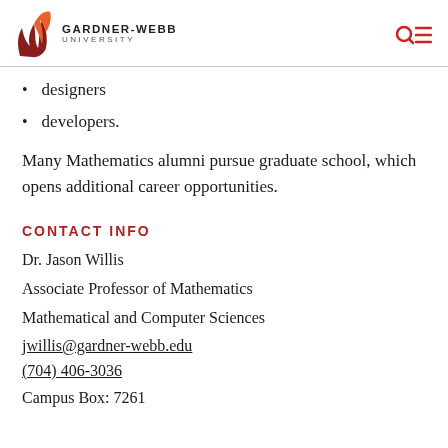GARDNER-WEBB UNIVERSITY
designers
developers.
Many Mathematics alumni pursue graduate school, which opens additional career opportunities.
CONTACT INFO
Dr. Jason Willis
Associate Professor of Mathematics
Mathematical and Computer Sciences
jwillis@gardner-webb.edu
(704) 406-3036
Campus Box: 7261